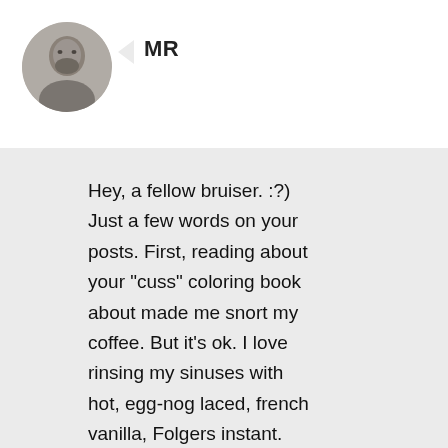[Figure (photo): Circular avatar photo of a man with a beard, grayscale]
MR
Hey, a fellow bruiser. :?) Just a few words on your posts. First, reading about your “cuss” coloring book about made me snort my coffee. But it’s ok. I love rinsing my sinuses with hot, egg-nog laced, french vanilla, Folgers instant. Lol. Could teach Navage a thing or two. Second, the gift of time is a good suggestion. As a former tanker driver, I know what